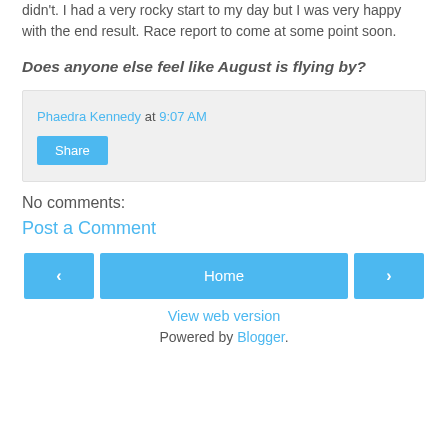didn't.  I had a very rocky start to my day but I was very happy with the end result.  Race report to come at some point soon.
Does anyone else feel like August is flying by?
Phaedra Kennedy at 9:07 AM
Share
No comments:
Post a Comment
< Home >
View web version
Powered by Blogger.